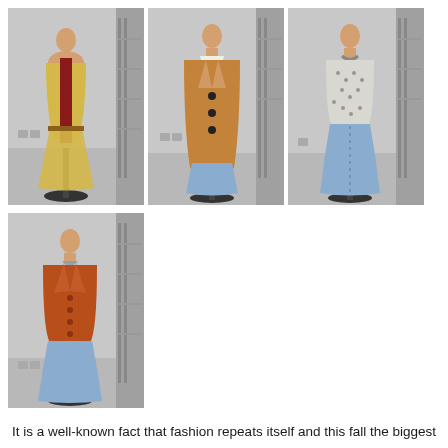[Figure (photo): Three mannequins in vintage 1970s clothing displayed in a storage room. Left: yellow vest over red top with skirt. Center: camel-colored long coat over blue skirt. Right: floral blouse with blue midi skirt.]
[Figure (photo): One mannequin in vintage 1970s clothing displayed in a storage room. Orange corduroy jacket over blue midi skirt.]
It is a well-known fact that fashion repeats itself and this fall the biggest trend in fashion has been the revival of 1970s